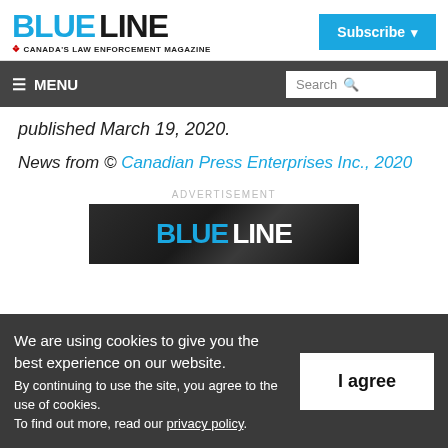BLUE LINE — Canada's Law Enforcement Magazine | Subscribe
≡ MENU | Search
published March 19, 2020.
News from © Canadian Press Enterprises Inc., 2020
ADVERTISEMENT
[Figure (logo): Blue Line magazine advertisement banner with blue and white logo on dark background]
We are using cookies to give you the best experience on our website. By continuing to use the site, you agree to the use of cookies. To find out more, read our privacy policy.